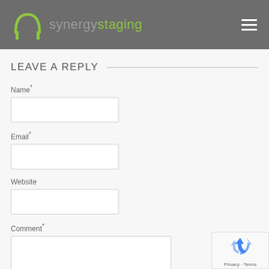[Figure (logo): Synergy Staging logo with green arch/house icon and text 'synergystaging' in grey and green]
LEAVE A REPLY
Name*
Email*
Website
Comment*
[Figure (logo): Google reCAPTCHA badge with recycling arrow icon, Privacy and Terms links]